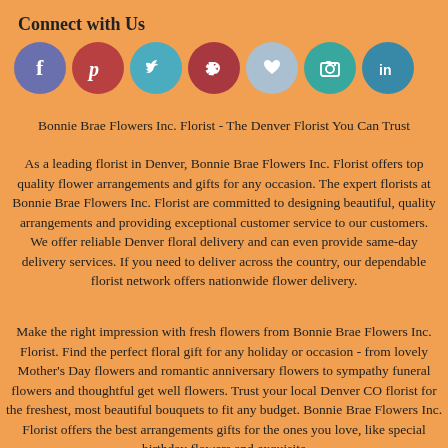Connect with Us
[Figure (infographic): Row of seven social media icons as colored circles: Facebook (blue-purple), Pinterest (red), Twitter (teal), Yelp (dark red), Wishlist/heart (light blue), Flickr (teal), LinkedIn (blue)]
Bonnie Brae Flowers Inc. Florist - The Denver Florist You Can Trust
As a leading florist in Denver, Bonnie Brae Flowers Inc. Florist offers top quality flower arrangements and gifts for any occasion. The expert florists at Bonnie Brae Flowers Inc. Florist are committed to designing beautiful, quality arrangements and providing exceptional customer service to our customers. We offer reliable Denver floral delivery and can even provide same-day delivery services. If you need to deliver across the country, our dependable florist network offers nationwide flower delivery.
Make the right impression with fresh flowers from Bonnie Brae Flowers Inc. Florist. Find the perfect floral gift for any holiday or occasion - from lovely Mother's Day flowers and romantic anniversary flowers to sympathy funeral flowers and thoughtful get well flowers. Trust your local Denver CO florist for the freshest, most beautiful bouquets to fit any budget. Bonnie Brae Flowers Inc. Florist offers the best arrangements gifts for the ones you love, like special birthday flowers and exquisite